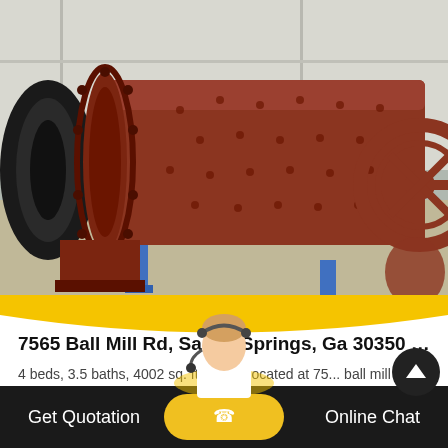[Figure (photo): Large red industrial ball mill cylinder with flanged end caps and gear wheel, resting on blue metal supports inside an industrial facility. Additional machinery visible in background.]
7565 Ball Mill Rd, Sandy Springs, Ga 30350 |...
4 beds, 3.5 baths, 4002 sq. ft. house located at 75... ball mill rd, sandy springs, ga 30350 sold for 495,000 ...
read more
Get Quotation   Online Chat